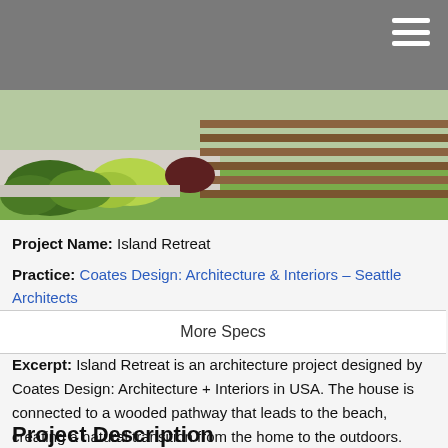[Figure (photo): Outdoor landscape photo showing terraced concrete walls with wood horizontal railings/steps, green shrubs and plants in foreground, grass lawn to the right]
Project Name: Island Retreat
Practice: Coates Design: Architecture & Interiors – Seattle Architects
More Specs
Excerpt: Island Retreat is an architecture project designed by Coates Design: Architecture + Interiors in USA. The house is connected to a wooded pathway that leads to the beach, creating a natural transition from the home to the outdoors.
Project Description